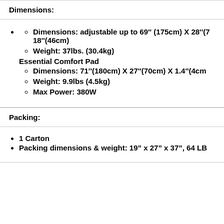Dimensions:
Dimensions: adjustable up to 69'' (175cm) X 28''(7... 18''(46cm)
Weight: 37lbs. (30.4kg)
Essential Comfort Pad
Dimensions: 71''(180cm) X 27''(70cm) X 1.4''(4cm...
Weight: 9.9lbs (4.5kg)
Max Power: 380W
Packing:
1 Carton
Packing dimensions & weight: 19" x 27" x 37", 64 LB...